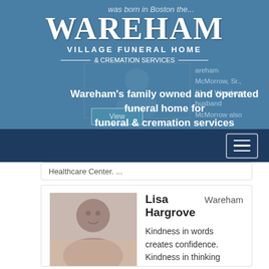[Figure (screenshot): Wareham Village Funeral Home & Cremation Services hero banner with logo and tagline overlay on teal/blue background]
was born in Boston the...
WAREHAM
VILLAGE FUNERAL HOME
& CREMATION SERVICES
Wareham's family owned and operated funeral home for funeral & cremation services
Wareham-David E. McMorrow, Sr., "FaFa", 81, of Wareham, husband
Healthcare Center. ...
Lisa Hargrove    Wareham
[Figure (photo): Portrait photo of Lisa Hargrove]
View
Kindness in words creates confidence. Kindness in thinking creates profoundness. Kindness in giving creates love. Wareham-Lisa Hargrove, 55, of Buzzards Bay,